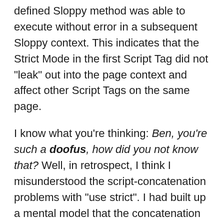defined Sloppy method was able to execute without error in a subsequent Sloppy context. This indicates that the Strict Mode in the first Script Tag did not "leak" out into the page context and affect other Script Tags on the same page.
I know what you're thinking: Ben, you're such a doofus, how did you not know that? Well, in retrospect, I think I misunderstood the script-concatenation problems with "use strict". I had built up a mental model that the concatenation problem had to do with the global context; but, I see now that it had to do with the single, generated Script context.
Want to use code from this post? Check out the